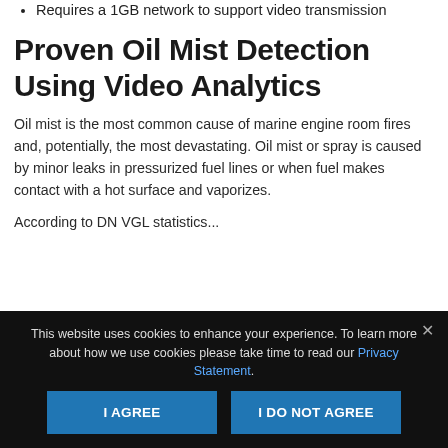Requires a 1GB network to support video transmission
Proven Oil Mist Detection Using Video Analytics
Oil mist is the most common cause of marine engine room fires and, potentially, the most devastating. Oil mist or spray is caused by minor leaks in pressurized fuel lines or when fuel makes contact with a hot surface and vaporizes.
According to DN VGL statistics...
This website uses cookies to enhance your experience. To learn more about how we use cookies please take time to read our Privacy Statement.